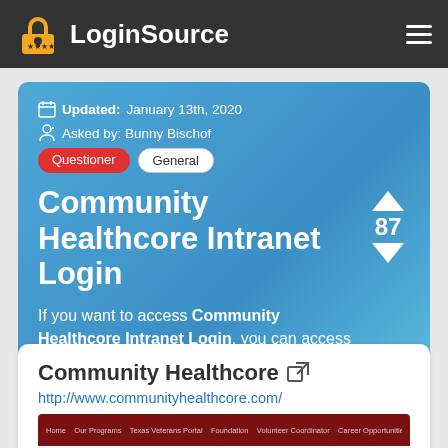LoginSource
Updated: January 13th, 2020
Asked by: Bunny Bischof
Community Healthcore Intranet Login
If you want to access Community Healthcore Intranet Login, you can access the website directly using the list below.
Community Healthcore
http://www.communityhealthcore.com/